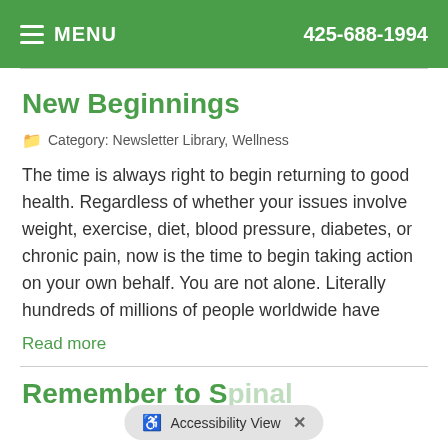MENU   425-688-1994
New Beginnings
Category: Newsletter Library, Wellness
The time is always right to begin returning to good health. Regardless of whether your issues involve weight, exercise, diet, blood pressure, diabetes, or chronic pain, now is the time to begin taking action on your own behalf. You are not alone. Literally hundreds of millions of people worldwide have
Read more
Remember to S...inal